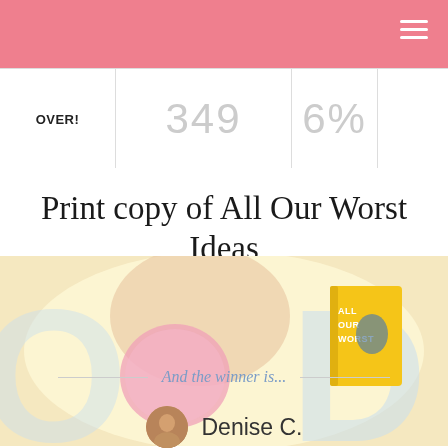OVER!
Print copy of All Our Worst Ideas
BROUGHT TO YOU BY:
[Figure (photo): Child blowing a bubble gum bubble, holding a yellow book titled 'All Our Worst Ideas']
And the winner is...
Denise C.